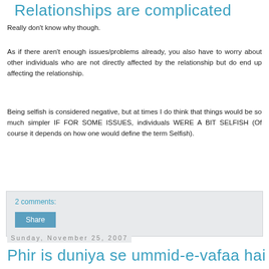Relationships are complicated
Really don't know why though.
As if there aren't enough issues/problems already, you also have to worry about other individuals who are not directly affected by the relationship but do end up affecting the relationship.
Being selfish is considered negative, but at times I do think that things would be so much simpler IF FOR SOME ISSUES, individuals WERE A BIT SELFISH (Of course it depends on how one would define the term Selfish).
2 comments:
Share
Sunday, November 25, 2007
Phir is duniya se ummid-e-vafaa hai